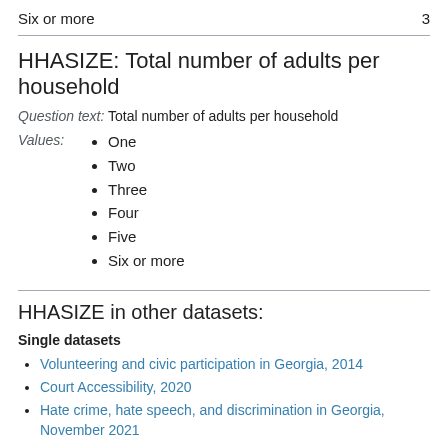Six or more    3
HHASIZE: Total number of adults per household
Question text: Total number of adults per household
One
Two
Three
Four
Five
Six or more
HHASIZE in other datasets:
Single datasets
Volunteering and civic participation in Georgia, 2014
Court Accessibility, 2020
Hate crime, hate speech, and discrimination in Georgia, November 2021
Hate crime, hate speech, and discrimination in Georgia,